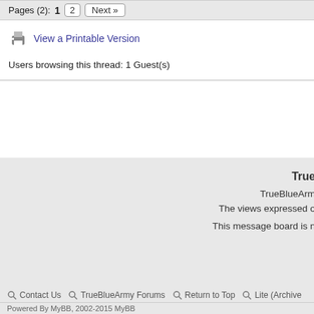Pages (2): 1  2  Next »
View a Printable Version
Users browsing this thread: 1 Guest(s)
True
TrueBlueArm
The views expressed o
This message board is n
Contact Us   TrueBlueArmy Forums   Return to Top   Lite (Archive